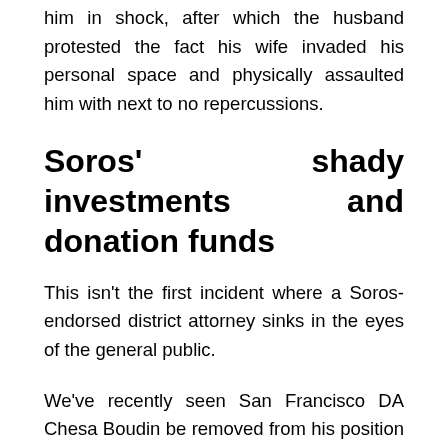him in shock, after which the husband protested the fact his wife invaded his personal space and physically assaulted him with next to no repercussions.
Soros' shady investments and donation funds
This isn't the first incident where a Soros-endorsed district attorney sinks in the eyes of the general public.
We've recently seen San Francisco DA Chesa Boudin be removed from his position for his ineffectiveness in bringing down the city's